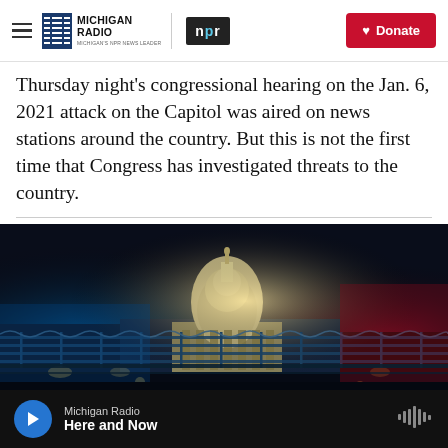Michigan Radio | NPR | Donate
Thursday night's congressional hearing on the Jan. 6, 2021 attack on the Capitol was aired on news stations around the country. But this is not the first time that Congress has investigated threats to the country.
[Figure (photo): Nighttime photo of the US Capitol building lit up behind a security fence with barbed wire, with blue and red lighting effects]
Michigan Radio | Here and Now (audio player bar)